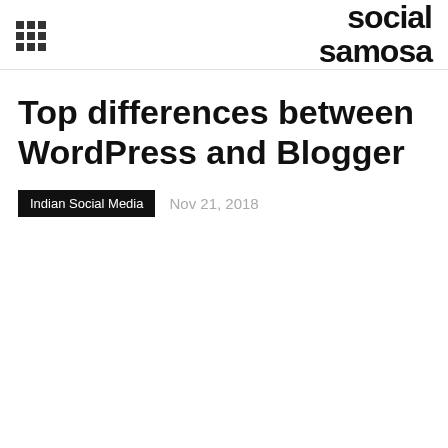social samosa
Top differences between WordPress and Blogger
Indian Social Media  Nov 21, 2018